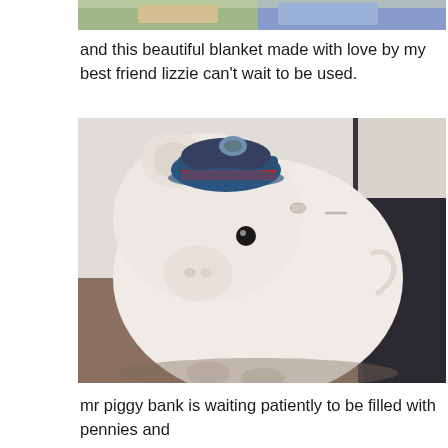[Figure (photo): Cropped top portion of an image showing what appears to be a colorful knitted/crocheted blanket]
and this beautiful blanket made with love by my best friend lizzie can't wait to be used.
[Figure (photo): Photo of a white ceramic piggy bank wearing a small blue and red cap/hat, photographed indoors against a dark curtain background]
mr piggy bank is waiting patiently to be filled with pennies and